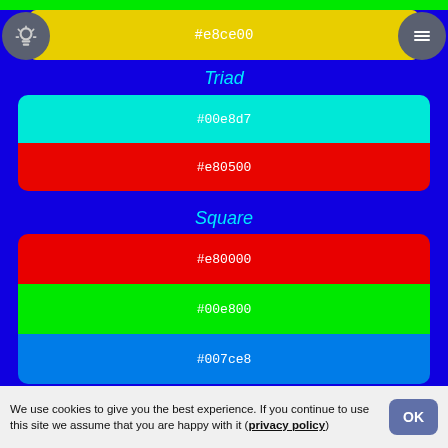[Figure (screenshot): Color harmony tool showing Triad, Square, and Tetradic color swatches on a blue background with hex codes]
#e8ce00
Triad
#00e8d7
#e80500
Square
#e80000
#00e800
#007ce8
Tetradic
#e8003e
#00e800
We use cookies to give you the best experience. If you continue to use this site we assume that you are happy with it (privacy policy)